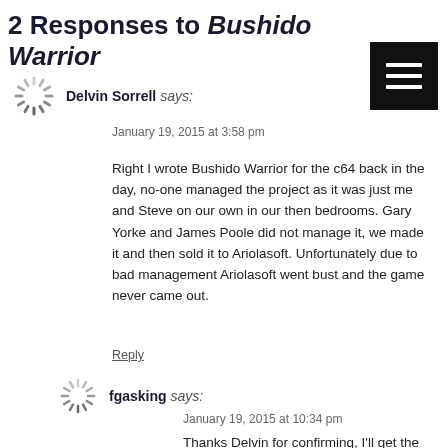2 Responses to Bushido Warrior
Delvin Sorrell says:
January 19, 2015 at 3:58 pm

Right I wrote Bushido Warrior for the c64 back in the day, no-one managed the project as it was just me and Steve on our own in our then bedrooms. Gary Yorke and James Poole did not manage it, we made it and then sold it to Ariolasoft. Unfortunately due to bad management Ariolasoft went bust and the game never came out.

Reply
fgasking says:
January 19, 2015 at 10:34 pm

Thanks Delvin for confirming, I'll get the page updated.

Reply